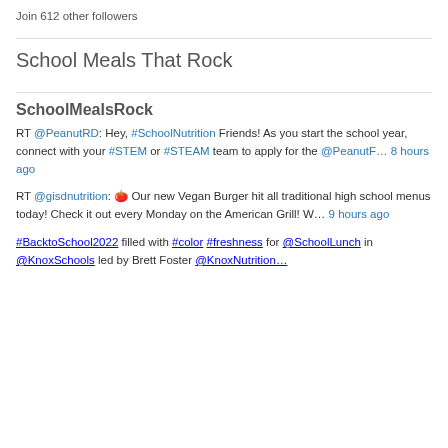Join 612 other followers
School Meals That Rock
SchoolMealsRock
RT @PeanutRD: Hey, #SchoolNutrition Friends! As you start the school year, connect with your #STEM or #STEAM team to apply for the @PeanutF… 8 hours ago
RT @gisdnutrition: 🍅 Our new Vegan Burger hit all traditional high school menus today! Check it out every Monday on the American Grill! W… 9 hours ago
#BacktoSchool2022 filled with #color #freshness for @SchoolLunch in @KnoxSchools led by Brett Foster @KnoxNutrition…